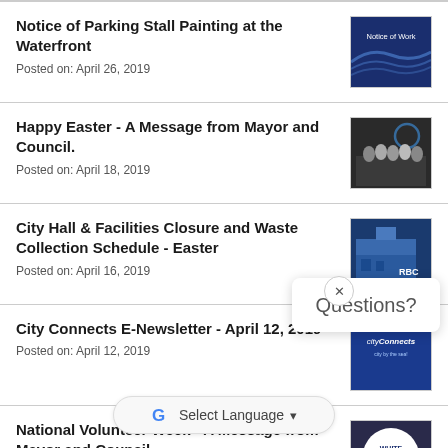Notice of Parking Stall Painting at the Waterfront
Posted on: April 26, 2019
Happy Easter - A Message from Mayor and Council.
Posted on: April 18, 2019
City Hall & Facilities Closure and Waste Collection Schedule - Easter
Posted on: April 16, 2019
City Connects E-Newsletter - April 12, 2019
Posted on: April 12, 2019
National Volunteer Week - A Message from Mayor and Council.
Posted on: April...